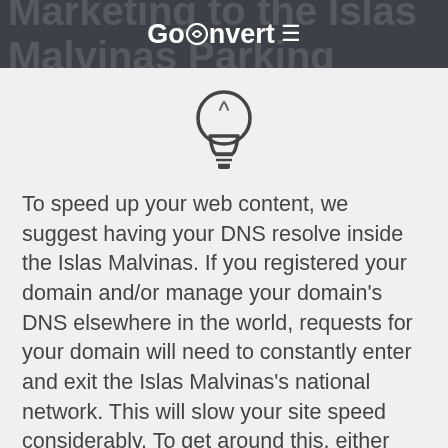GoConvert
[Figure (illustration): Light bulb icon centered on the page]
To speed up your web content, we suggest having your DNS resolve inside the Islas Malvinas. If you registered your domain and/or manage your domain’s DNS elsewhere in the world, requests for your domain will need to constantly enter and exit the Islas Malvinas’s national network. This will slow your site speed considerably. To get around this, either register you domain with a registry in the Islas Malvinas or use a cloud DNS service like Amazon Route 53.